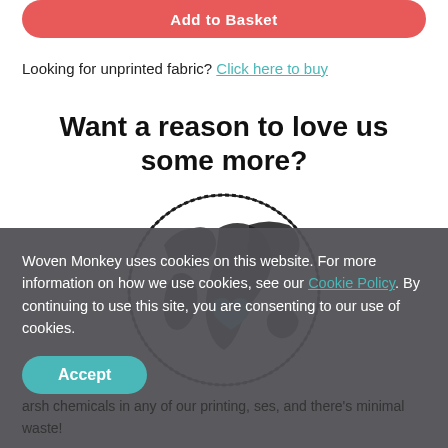[Figure (other): Red/coral rounded button with text 'Add to Basket']
Looking for unprinted fabric? Click here to buy
Want a reason to love us some more?
[Figure (illustration): Globe illustration with a teal heart shape on it, sketchy black and white art style]
Woven Monkey uses cookies on this website. For more information on how we use cookies, see our Cookie Policy. By continuing to use this site, you are consenting to our use of cookies.
Accept
arsh chemicals in any of our printing, ses, and there's minimal waste!